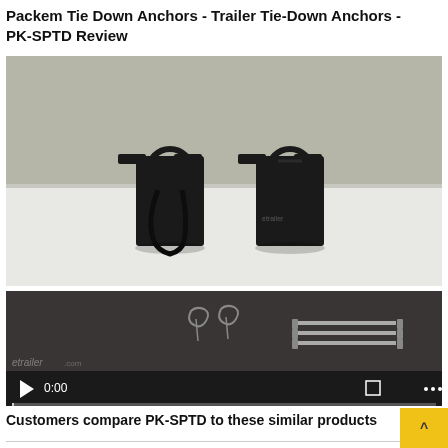Packem Tie Down Anchors - Trailer Tie-Down Anchors - PK-SPTD Review
[Figure (photo): Two black trailer tie-down anchors side by side on a white surface, showing D-ring hooks; one ring is extended downward. Gray background.]
[Figure (screenshot): Video player showing tie-down anchor components including pins and clips. Dark overlay with play button, 0:00 timestamp, volume and fullscreen controls, progress bar, and etrailer.com watermark.]
Customers compare PK-SPTD to these similar products
|  |